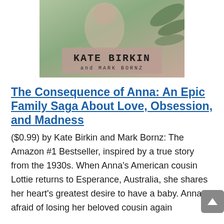[Figure (photo): Book cover showing 'A Novel' at top right, with background of foliage and a figure, and a semi-transparent pink/mauve label reading 'KATE BIRKIN and MARK BORNZ' in typewriter font]
The Consequence of Anna: An Epic Family Saga About Love, Obsession, and Madness
($0.99) by Kate Birkin and Mark Bornz: The Amazon #1 Bestseller, inspired by a true story from the 1930s. When Anna's American cousin Lottie returns to Esperance, Australia, she shares her heart's greatest desire to have a baby. Anna, afraid of losing her beloved cousin again